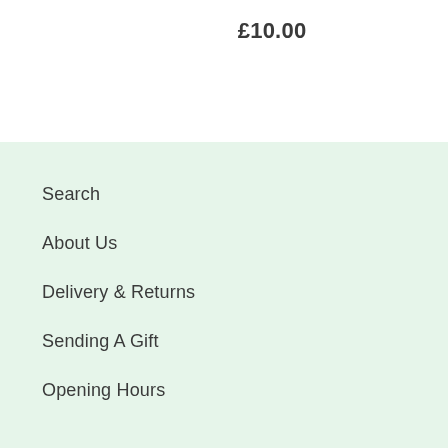£10.00
Search
About Us
Delivery & Returns
Sending A Gift
Opening Hours